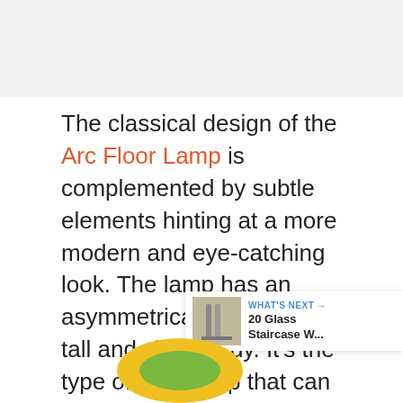The classical design of the Arc Floor Lamp is complemented by subtle elements hinting at a more modern and eye-catching look. The lamp has an asymmetrical shade and a tall and sleek body. It's the type of floor lamp that can look beautiful in a lot of different contexts such as above the living room coffee table or in the corner of the bedroom.
[Figure (other): Heart (like) button icon — circular blue button with white heart, count of 10 below, and share icon below that]
[Figure (other): What's Next panel with thumbnail image of glass staircase and text '20 Glass Staircase W...']
[Figure (other): Bottom partial image showing yellow and green arc floor lamp]